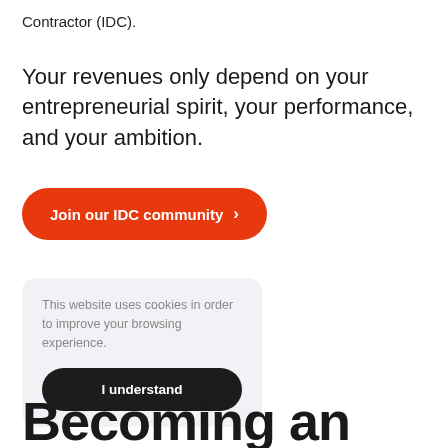Contractor (IDC).
Your revenues only depend on your entrepreneurial spirit, your performance, and your ambition.
Join our IDC community ›
This website uses cookies in order to improve your browsing experience.
I understand
Becoming an